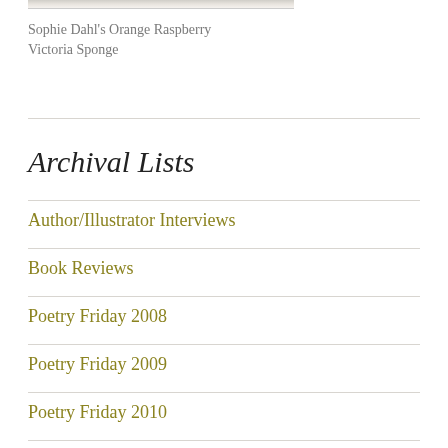[Figure (photo): Partial view of a food photograph showing Sophie Dahl's Orange Raspberry Victoria Sponge cake]
Sophie Dahl's Orange Raspberry Victoria Sponge
Archival Lists
Author/Illustrator Interviews
Book Reviews
Poetry Friday 2008
Poetry Friday 2009
Poetry Friday 2010
Poetry Friday 2011